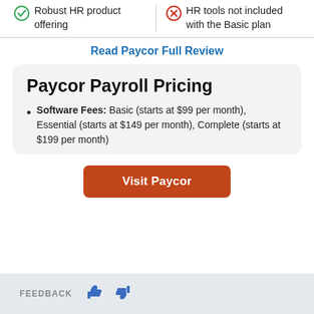Robust HR product offering
HR tools not included with the Basic plan
Read Paycor Full Review
Paycor Payroll Pricing
Software Fees: Basic (starts at $99 per month), Essential (starts at $149 per month), Complete (starts at $199 per month)
Visit Paycor
FEEDBACK